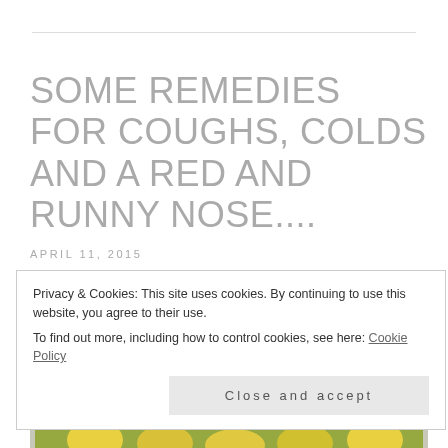SOME REMEDIES FOR COUGHS, COLDS AND A RED AND RUNNY NOSE....
APRIL 11, 2015
[Figure (photo): Photo of embroidered textile with floral design showing pink and white flowers with green leaves on a light background]
Privacy & Cookies: This site uses cookies. By continuing to use this website, you agree to their use. To find out more, including how to control cookies, see here: Cookie Policy
Close and accept